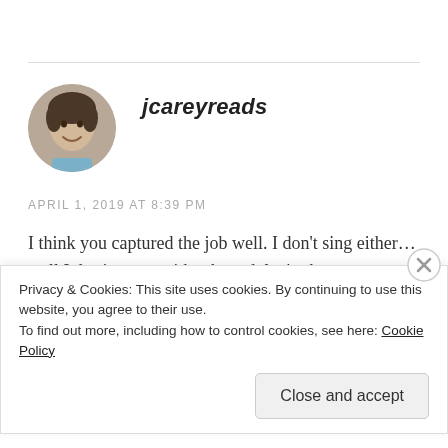[Figure (photo): Circular avatar photo of a young woman smiling, with light brown/olive skin and dark hair.]
jcareyreads
APRIL 1, 2019 AT 8:39 PM
I think you captured the job well. I don't sing either… well I do- just not with other adults in the room usually! Love the new blog title!
REPLY
Privacy & Cookies: This site uses cookies. By continuing to use this website, you agree to their use.
To find out more, including how to control cookies, see here: Cookie Policy
Close and accept